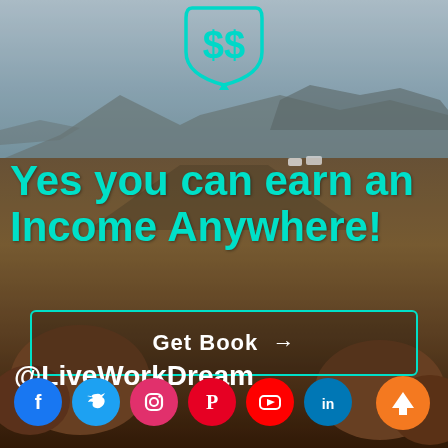[Figure (illustration): Dollar sign shield icon in cyan/teal outline at top center of page, overlaid on a desert landscape photo background showing red rock formations and mesas under a hazy sky.]
Yes you can earn an Income Anywhere!
Get Book →
@LiveWorkDream
[Figure (infographic): Row of social media icons: Facebook (blue), Twitter (cyan), Instagram (pink/red), Pinterest (red), YouTube (red), LinkedIn (blue)]
[Figure (illustration): Orange circle with upward arrow button in bottom right corner]